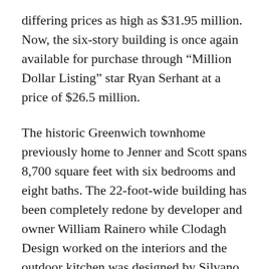differing prices as high as $31.95 million. Now, the six-story building is once again available for purchase through “Million Dollar Listing” star Ryan Serhant at a price of $26.5 million.
The historic Greenwich townhome previously home to Jenner and Scott spans 8,700 square feet with six bedrooms and eight baths. The 22-foot-wide building has been completely redone by developer and owner William Rainero while Clodagh Design worked on the interiors and the outdoor kitchen was designed by Silvano Marchetto. Stepping inside, the space opens to soaring 18-foot ceilings, exposed original stone, and warm brick walls. The living area highlights a modern fireplace that leads into the 700 square foot garden. The interior layout also presents a mezzanine lounge, a secondary kitchen, and a media room which can be